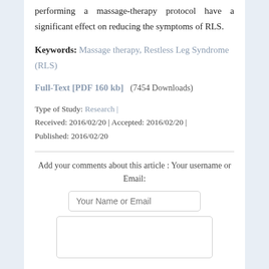performing a massage-therapy protocol have a significant effect on reducing the symptoms of RLS.
Keywords: Massage therapy, Restless Leg Syndrome (RLS)
Full-Text [PDF 160 kb]   (7454 Downloads)
Type of Study: Research | Received: 2016/02/20 | Accepted: 2016/02/20 | Published: 2016/02/20
Add your comments about this article : Your username or Email: